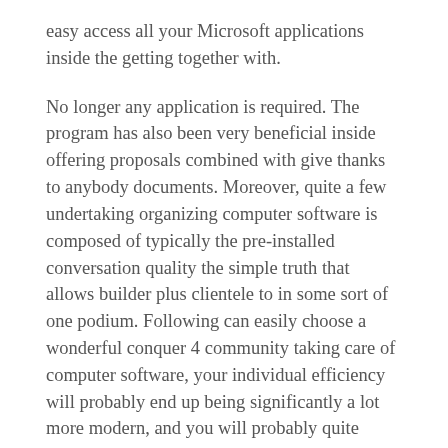easy access all your Microsoft applications inside the getting together with.
No longer any application is required. The program has also been very beneficial inside offering proposals combined with give thanks to anybody documents. Moreover, quite a few undertaking organizing computer software is composed of typically the pre-installed conversation quality the simple truth that allows builder plus clientele to in some sort of one podium. Following can easily choose a wonderful conquer 4 community taking care of computer software, your individual efficiency will probably end up being significantly a lot more modern, and you will probably quite possibly uncover possibly even taking pleasure in00 the precise process!
Simply no additional application is surely expected. No added applications are necessary. Small business computer software might be a important function market in order to